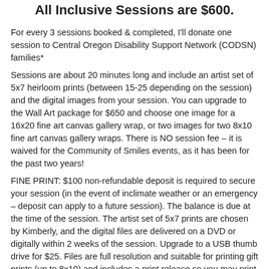All Inclusive Sessions are $600.
For every 3 sessions booked & completed, I'll donate one session to Central Oregon Disability Support Network (CODSN) families*
Sessions are about 20 minutes long and include an artist set of 5x7 heirloom prints (between 15-25 depending on the session) and the digital images from your session. You can upgrade to the Wall Art package for $650 and choose one image for a 16x20 fine art canvas gallery wrap, or two images for two 8x10 fine art canvas gallery wraps. There is NO session fee – it is waived for the Community of Smiles events, as it has been for the past two years!
FINE PRINT: $100 non-refundable deposit is required to secure your session (in the event of inclimate weather or an emergency – deposit can apply to a future session). The balance is due at the time of the session. The artist set of 5x7 prints are chosen by Kimberly, and the digital files are delivered on a DVD or digitally within 2 weeks of the session. Upgrade to a USB thumb drive for $25. Files are full resolution and suitable for printing gift prints (up to 8x10) and includes a print release so you may print as many as you'd